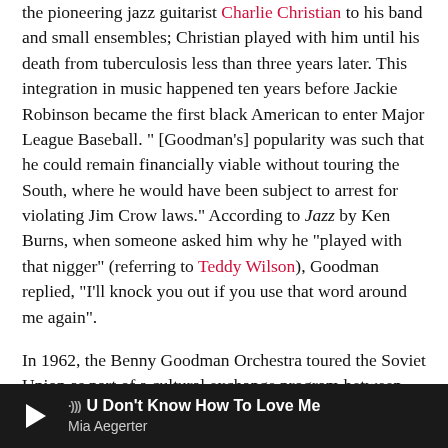the pioneering jazz guitarist Charlie Christian to his band and small ensembles; Christian played with him until his death from tuberculosis less than three years later. This integration in music happened ten years before Jackie Robinson became the first black American to enter Major League Baseball. "[Goodman's] popularity was such that he could remain financially viable without touring the South, where he would have been subject to arrest for violating Jim Crow laws." According to Jazz by Ken Burns, when someone asked him why he "played with that nigger" (referring to Teddy Wilson), Goodman replied, "I'll knock you out if you use that word around me again".
In 1962, the Benny Goodman Orchestra toured the Soviet Union as part of a cultural exchange program between the two nations after the Cuban missile crisis and the end of that phase of the Cold War; both visits were part of then-current efforts to normalize relations between the United States and the
U Don't Know How To Love Me — Mia Aegerter